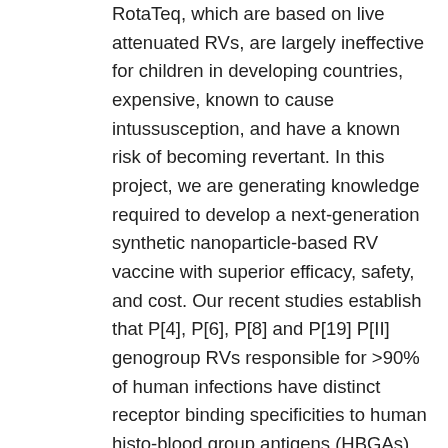RotaTeq, which are based on live attenuated RVs, are largely ineffective for children in developing countries, expensive, known to cause intussusception, and have a known risk of becoming revertant. In this project, we are generating knowledge required to develop a next-generation synthetic nanoparticle-based RV vaccine with superior efficacy, safety, and cost. Our recent studies establish that P[4], P[6], P[8] and P[19] P[II] genogroup RVs responsible for >90% of human infections have distinct receptor binding specificities to human histo-blood group antigens (HBGAs), which are synthesized in a developmentally-regulated, step-wise manner during early lives of children, and that are evolutionarily conserved in some animals. This hypothesis potentially explains why many RVs exclusively infect only humans or animals while others infect both humans and animals, and why some RVs infect neonates and young infants while others only infect older children. Initial cell attachment of rotavirus (RV) to specific cell surface glycan receptors, which is the